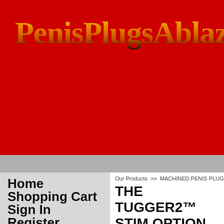[Figure (logo): PenisPlugsAblaze logo with flame-styled text on red background]
PLAY SAFE, BE WELL!
penisplugsablaze@yahoo.com
Home
Shopping Cart
Sign In
Register
Our Products  >>  MACHINED PENIS PLUGS  >> T
THE TUGGER2™ STIM OPTION
1 reviews